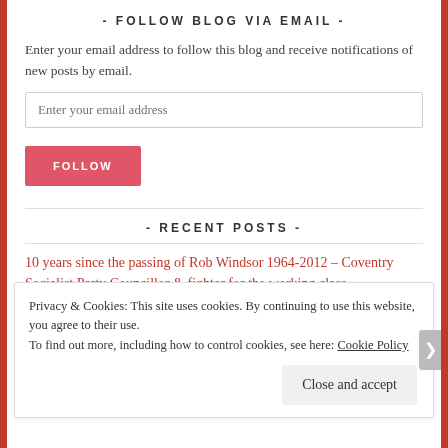- FOLLOW BLOG VIA EMAIL -
Enter your email address to follow this blog and receive notifications of new posts by email.
Enter your email address
FOLLOW
- RECENT POSTS -
10 years since the passing of Rob Windsor 1964-2012 – Coventry Socialist Party Councillor & fighter for the working class.
Privacy & Cookies: This site uses cookies. By continuing to use this website, you agree to their use.
To find out more, including how to control cookies, see here: Cookie Policy
Close and accept